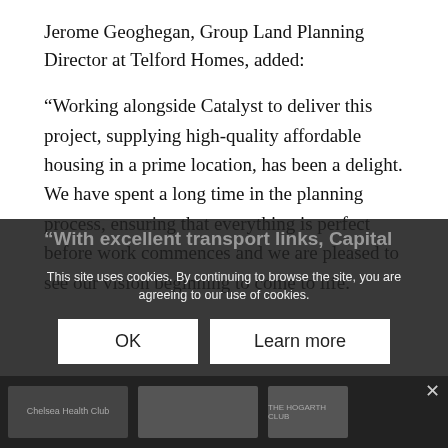Jerome Geoghegan, Group Land Planning Director at Telford Homes, added:
“Working alongside Catalyst to deliver this project, supplying high-quality affordable housing in a prime location, has been a delight. We have spent a long time in the planning process, ensuring that everything is perfect before work commences and we are pleased to see our vision beginning to come to life.
“With excellent transport links, Capital
This site uses cookies. By continuing to browse the site, you are agreeing to our use of cookies.